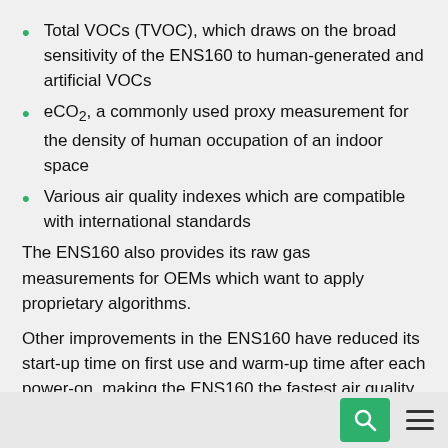Total VOCs (TVOC), which draws on the broad sensitivity of the ENS160 to human-generated and artificial VOCs
eCO2, a commonly used proxy measurement for the density of human occupation of an indoor space
Various air quality indexes which are compatible with international standards
The ENS160 also provides its raw gas measurements for OEMs which want to apply proprietary algorithms.
Other improvements in the ENS160 have reduced its start-up time on first use and warm-up time after each power-on, making the ENS160 the fastest air quality sensor on the market and the ideal choice for systems requiring fast responsiveness and an exceptional user experience.
Search and menu navigation icons